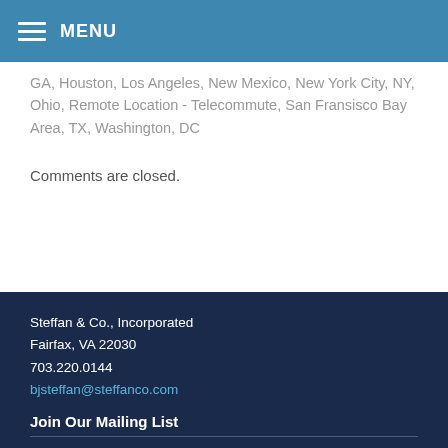MENU
GA, Houston, Los Angeles, New Mexico, New York City, NY, Ohio, Remote Location - Telecommute, San Fransisco Bay Area, TX, Washington, DC
Comments are closed.
Steffan & Co., Incorporated
Fairfax, VA 22030
703.220.0144
bjsteffan@steffanco.com
Join Our Mailing List
Email: